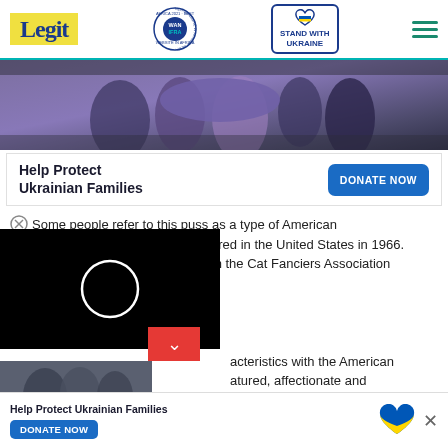Legit | WAN IFRA Best News Website in Africa 2021 | Stand with Ukraine
[Figure (photo): Photo of people carrying someone in a purple blanket/stretcher, war refugee scene]
Help Protect Ukrainian Families  DONATE NOW
Some people refer to this puss as a type of American Shorthair. It was first discovered in the United States in 1966. It was originally recognized by the Cat Fanciers Association
[Figure (screenshot): Video player overlay with loading circle on black background]
acteristics with the American ... atured, affectionate and
[Figure (photo): Bottom strip photo of people in winter clothes]
Help Protect Ukrainian Families  DONATE NOW